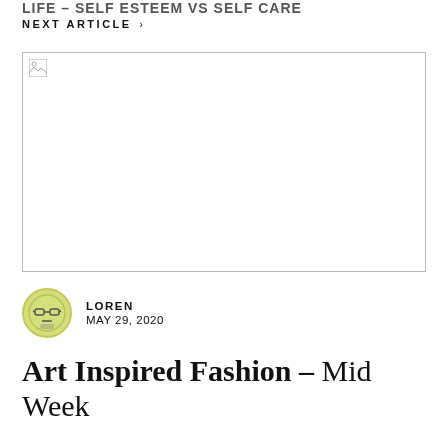LIFE – SELF ESTEEM VS SELF CARE
NEXT ARTICLE >
[Figure (photo): Broken/missing image placeholder for article thumbnail]
LOREN
MAY 29, 2020
Art Inspired Fashion – Mid Week